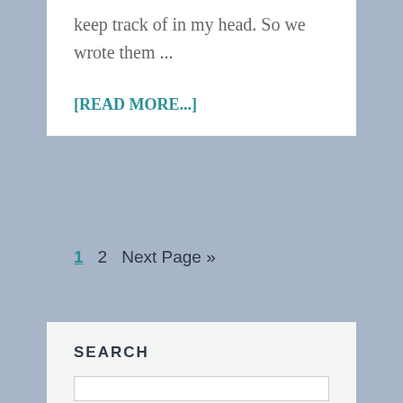keep track of in my head. So we wrote them ...
[READ MORE...]
1  2  Next Page »
SEARCH